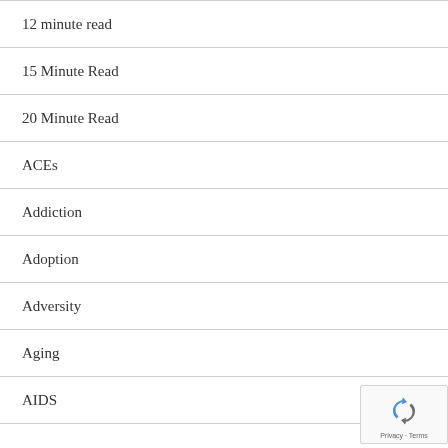12 minute read
15 Minute Read
20 Minute Read
ACEs
Addiction
Adoption
Adversity
Aging
AIDS